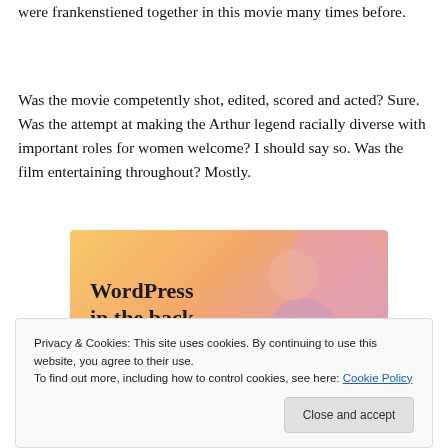were frankenstiened together in this movie many times before.
Was the movie competently shot, edited, scored and acted? Sure. Was the attempt at making the Arthur legend racially diverse with important roles for women welcome? I should say so. Was the film entertaining throughout? Mostly.
[Figure (illustration): WordPress advertisement banner with text 'WordPress in the back.' on a warm gradient background of orange, peach, and mauve tones with abstract blob shapes.]
Privacy & Cookies: This site uses cookies. By continuing to use this website, you agree to their use.
To find out more, including how to control cookies, see here: Cookie Policy
Close and accept